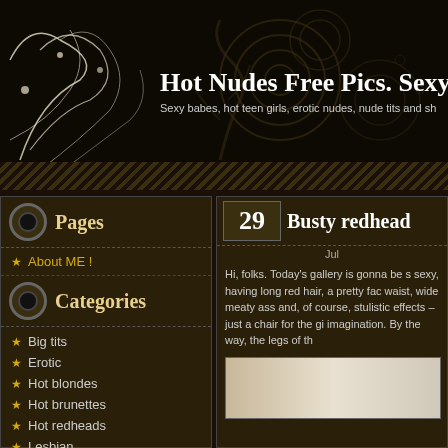Hot Nudes Free Pics. Sexy N
Sexy babes, hot teen girls, erotic nudes, nude tits and sh
Pages
About ME !
Categories
Big tits
Erotic
Hot blondes
Hot brunettes
Hot redheads
Lesbian
Lingerie
29 Busty redhead
Jul
Hi, folks. Today's gallery is gonna be s sexy, having long red hair, a pretty fac waist, wide meaty ass and, of course, stulistic effects – just a chair for the gi imagination. By the way, the legs of th
[Figure (photo): Partial photo of a person, light tones]